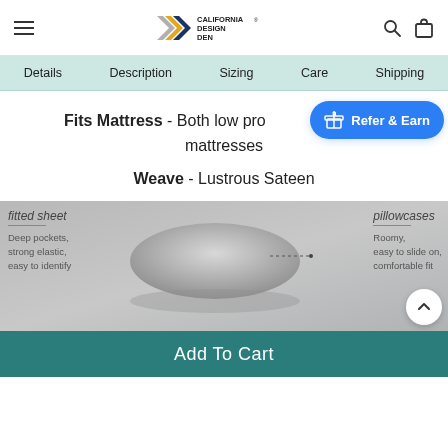[Figure (logo): California Design Den logo with chevron shapes in grey, yellow, and navy blue]
Navigation bar with: Details, Description, Sizing, Care, Shipping
Fits Mattress - Both low profile and standard mattresses
Weave - Lustrous Sateen
[Figure (photo): Grey sateen pillow with fitted sheet and pillowcase labels. Fitted sheet: Deep pockets, strong elastic, easy to identify. Pillowcases: Roomy, easy to slide on, comfortable fit.]
Add To Cart